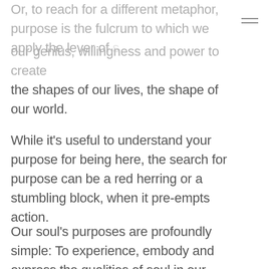Or, to reach for a different metaphor, purpose is the fulcrum to which we apply the lever of our genius, willingness and power to create the shapes of our lives, the shape of our world.
While it's useful to understand your purpose for being here, the search for purpose can be a red herring or a stumbling block, when it pre-empts action.
Our soul's purposes are profoundly simple: To experience, embody and express the qualities of soul in our everyday lives. To serve and bless ourselves and our world. To grow into our humanity, and our capacity to act as